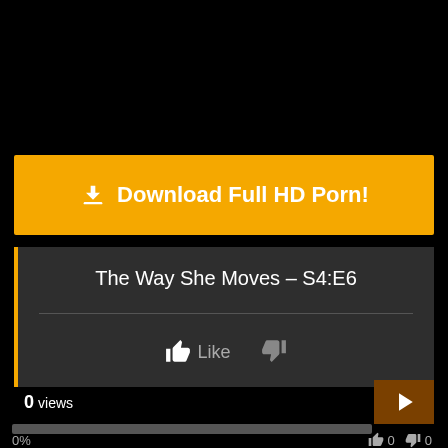[Figure (screenshot): Black area at top representing a video player]
⬇ Download Full HD Porn!
The Way She Moves – S4:E6
Like
0 views
0%
0   0